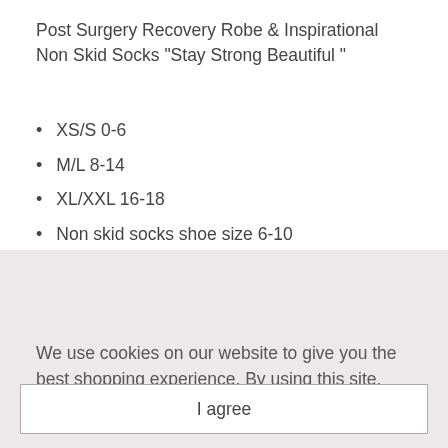Post Surgery Recovery Robe & Inspirational Non Skid Socks "Stay Strong Beautiful "
XS/S 0-6
M/L 8-14
XL/XXL 16-18
Non skid socks shoe size 6-10
Whether having a full mastectomy, lumpectomy, reconstructive surgery or removal surgery, you need
We use cookies on our website to give you the best shopping experience. By using this site, you agree to its use of cookies.
I agree